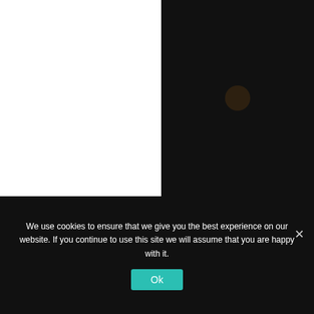[Figure (screenshot): Top portion of a web form showing an Email input field with blue border outline at the top of the page.]
Email
Save my name, email, and website in this browser for the next time I comment.
Yes, add me to your mailing list
[Figure (screenshot): Blue Post Comment submit button with white bold text.]
[Figure (photo): Dark rounded device (phone/card) on white background, partially visible at the bottom left of the page.]
[Figure (photo): Dark black background image with an orange/gold double quotation mark in the center, partially visible at the bottom right.]
We use cookies to ensure that we give you the best experience on our website. If you continue to use this site we will assume that you are happy with it.